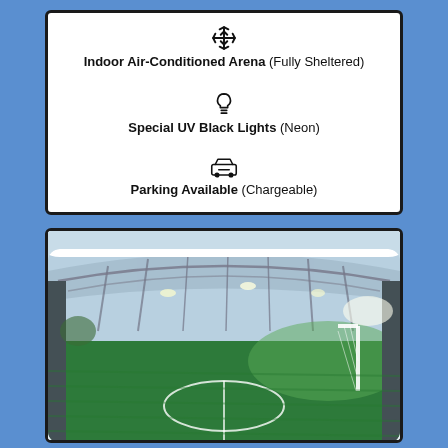❄ Indoor Air-Conditioned Arena (Fully Sheltered)
💡 Special UV Black Lights (Neon)
🚗 Parking Available (Chargeable)
[Figure (photo): Indoor sports arena/football pitch with a large curved steel roof structure, artificial green turf, white goal posts visible on the right, and bright lights illuminating the pitch.]